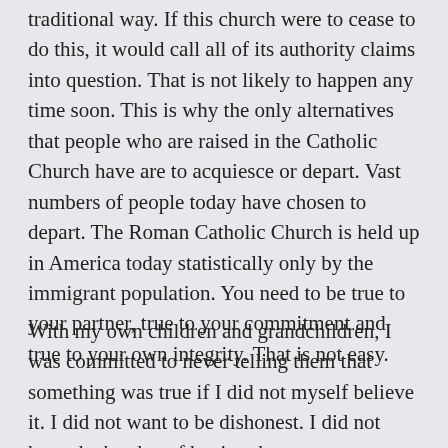traditional way. If this church were to cease to do this, it would call all of its authority claims into question. That is not likely to happen any time soon. This is why the only alternatives that people who are raised in the Catholic Church have are to acquiesce or depart. Vast numbers of people today have chosen to depart. The Roman Catholic Church is held up in America today statistically only by the immigrant population. You need to be true to your partner, true to your commitment and true to your own integrity. That is not easy.
With my own children and grandchildren, I was committed to never telling them that something was true if I did not myself believe it. I did not want to be dishonest. I did not have the burden of having them